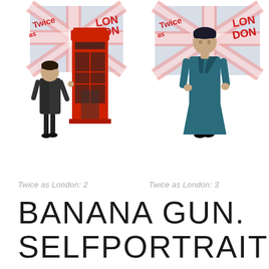[Figure (illustration): Illustration: 'Twice as London 2' — a figure in a dark coat standing next to a red British telephone box, with Union Jack flag graphic and 'Twice as London' text in background]
Twice as London: 2
[Figure (illustration): Illustration: 'Twice as London 3' — a figure in a blue/teal long coat standing against a Union Jack flag graphic with 'Twice as London' text]
Twice as London: 3
BANANA GUN. SELFPORTRAIT